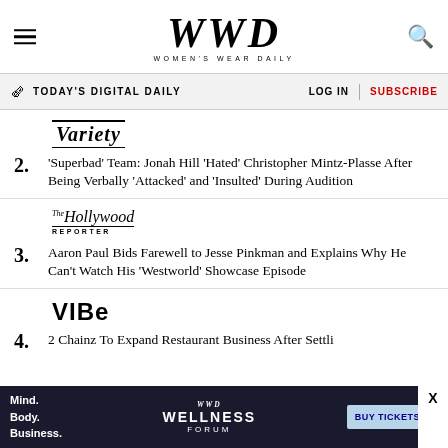WWD WOMEN'S WEAR DAILY
TODAY'S DIGITAL DAILY  LOG IN  SUBSCRIBE
[Figure (logo): Variety magazine logo in italic serif font with decorative border lines]
2. 'Superbad' Team: Jonah Hill 'Hated' Christopher Mintz-Plasse After Being Verbally 'Attacked' and 'Insulted' During Audition
[Figure (logo): The Hollywood Reporter logo in italic serif font with small caps subtitle]
3. Aaron Paul Bids Farewell to Jesse Pinkman and Explains Why He Can't Watch His 'Westworld' Showcase Episode
[Figure (logo): VIBE magazine logo in bold black sans-serif font]
4. 2 Chainz To Expand Restaurant Business After Settli...
[Figure (infographic): WWD Wellness Forum advertisement banner with Mind. Body. Business. text and BUY TICKETS button]